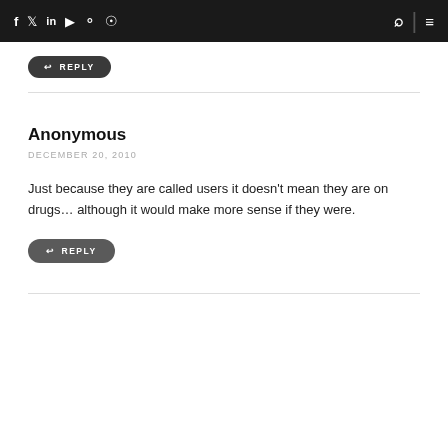Social media icons: f, t, in, YouTube, Instagram, RSS | Search | Menu
↩ REPLY
Anonymous
DECEMBER 20, 2010

Just because they are called users it doesn't mean they are on drugs… although it would make more sense if they were.
↩ REPLY